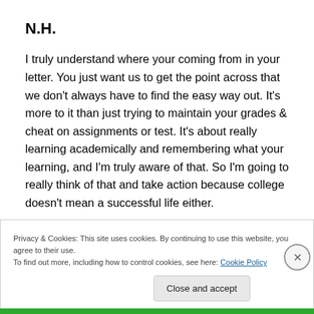N.H.
I truly understand where your coming from in your letter. You just want us to get the point across that we don't always have to find the easy way out. It's more to it than just trying to maintain your grades & cheat on assignments or test. It's about really learning academically and remembering what your learning, and I'm truly aware of that. So I'm going to really think of that and take action because college doesn't mean a successful life either.
Privacy & Cookies: This site uses cookies. By continuing to use this website, you agree to their use.
To find out more, including how to control cookies, see here: Cookie Policy
Close and accept